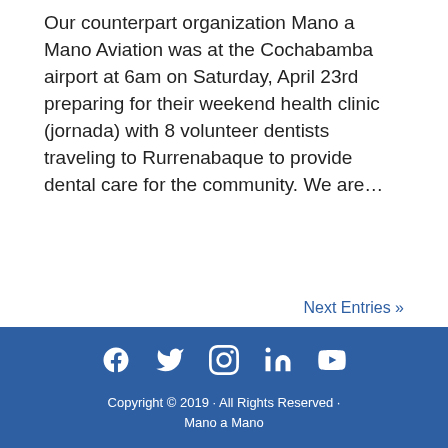Our counterpart organization Mano a Mano Aviation was at the Cochabamba airport at 6am on Saturday, April 23rd preparing for their weekend health clinic (jornada) with 8 volunteer dentists traveling to Rurrenabaque to provide dental care for the community. We are…
Next Entries »
Copyright © 2019 · All Rights Reserved · Mano a Mano